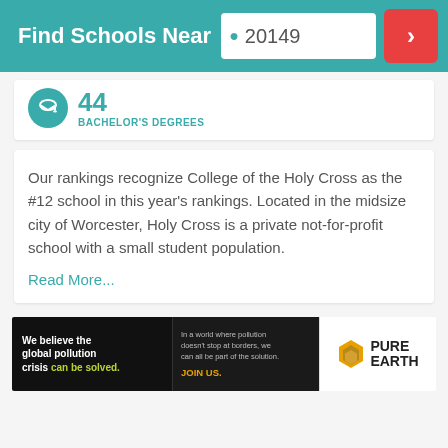Find Schools Near 20149
44 BACHELOR'S DEGREES
Our rankings recognize College of the Holy Cross as the #12 school in this year's rankings. Located in the midsize city of Worcester, Holy Cross is a private not-for-profit school with a small student population.
Read More...
[Figure (infographic): Pure Earth advertisement banner: 'We believe the global pollution crisis can be solved. In a world where pollution doesn't stop at borders, we can all be part of the solution. JOIN US.' with Pure Earth logo.]